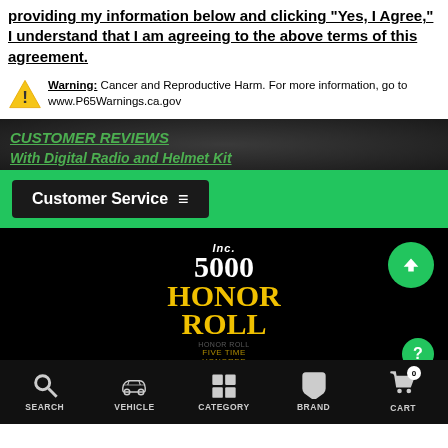providing my information below and clicking "Yes, I Agree," I understand that I am agreeing to the above terms of this agreement.
Warning: Cancer and Reproductive Harm. For more information, go to www.P65Warnings.ca.gov
CUSTOMER REVIEWS
With Digital Radio and Helmet Kit
Customer Service
[Figure (logo): Inc. 5000 Honor Roll Five-Time Honoree logo on black background]
SEARCH   VEHICLE   CATEGORY   BRAND   CART